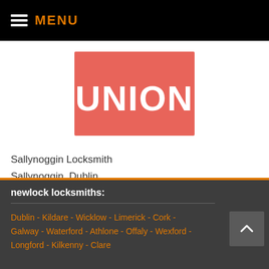MENU
[Figure (logo): UNION logo on red/salmon background with white text]
Sallynoggin Locksmith
Sallynoggin, Dublin,
Phone: 086 601 2976
newlock locksmiths:
Dublin - Kildare - Wicklow - Limerick - Cork - Galway - Waterford - Athlone - Offaly - Wexford - Longford - Kilkenny - Clare